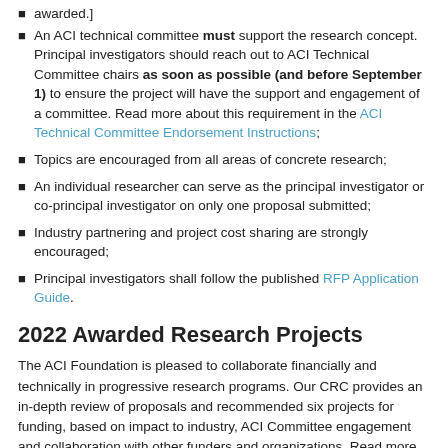awarded.]
An ACI technical committee must support the research concept. Principal investigators should reach out to ACI Technical Committee chairs as soon as possible (and before September 1) to ensure the project will have the support and engagement of a committee. Read more about this requirement in the ACI Technical Committee Endorsement Instructions;
Topics are encouraged from all areas of concrete research;
An individual researcher can serve as the principal investigator or co-principal investigator on only one proposal submitted;
Industry partnering and project cost sharing are strongly encouraged;
Principal investigators shall follow the published RFP Application Guide.
2022 Awarded Research Projects
The ACI Foundation is pleased to collaborate financially and technically in progressive research programs. Our CRC provides an in-depth review of proposals and recommended six projects for funding, based on impact to industry, ACI Committee engagement and collaboration with other funders and organizations. Read more about each ACI Foundation funded project using the link below.